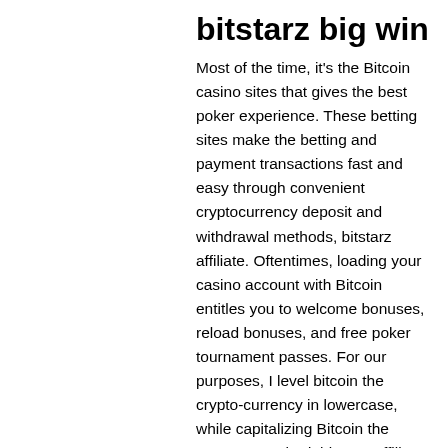bitstarz big win
Most of the time, it's the Bitcoin casino sites that gives the best poker experience. These betting sites make the betting and payment transactions fast and easy through convenient cryptocurrency deposit and withdrawal methods, bitstarz affiliate. Oftentimes, loading your casino account with Bitcoin entitles you to welcome bonuses, reload bonuses, and free poker tournament passes. For our purposes, I level bitcoin the crypto-currency in lowercase, while capitalizing Bitcoin the payment method, bitstarz affiliate. Regulation: Costa Rica License, ingen insättningsbonus codes bitstarz. Play at sites like bitstarz casino! list of alternative and sister sites! huge suite of casino games! exclusive bonus codes! rapid winning payouts. Lucky coin slot · geisha online video slot · mega fortune · diamond wild · wolf gold slot. Fr forum - profil du